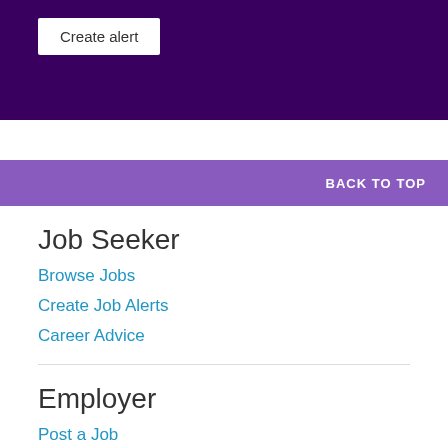[Figure (screenshot): Dark purple banner at top of page with a 'Create alert' button in white]
Create alert
BACK TO TOP
Job Seeker
Browse Jobs
Create Job Alerts
Career Advice
Employer
Post a Job